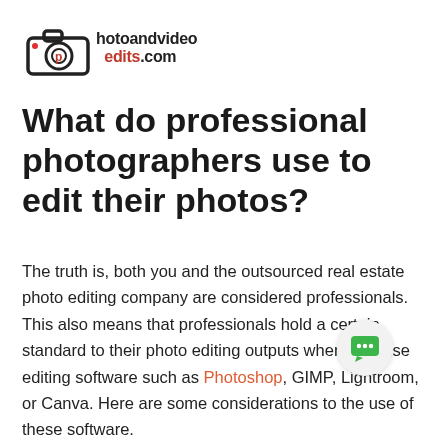[Figure (logo): PhotoandVideoEdits.com logo with camera icon and red/black text]
What do professional photographers use to edit their photos?
The truth is, both you and the outsourced real estate photo editing company are considered professionals. This also means that professionals hold a certain standard to their photo editing outputs when they use editing software such as Photoshop, GIMP, Lightroom, or Canva. Here are some considerations to the use of these software.
Professionals know how the importance of light and color - The most basic elements of photo editing brings the photo to life and makes every inch of the property